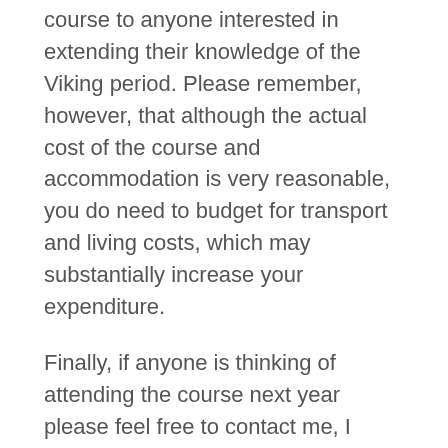course to anyone interested in extending their knowledge of the Viking period. Please remember, however, that although the actual cost of the course and accommodation is very reasonable, you do need to budget for transport and living costs, which may substantially increase your expenditure.
Finally, if anyone is thinking of attending the course next year please feel free to contact me, I would be happy to expand on the information here, and to give further advice. My email address is ks535@york.ac.uk.
Resources
Moesgård Museum